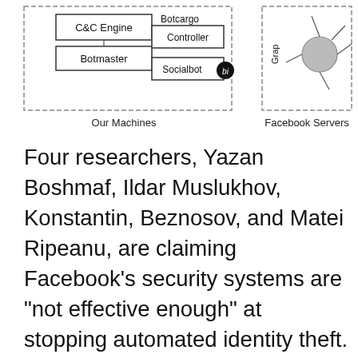[Figure (schematic): Network diagram showing 'Our Machines' on the left (with boxes labeled C&C Engine, Botmaster, Botcargo, Controller, Socialbot bi) and 'Facebook Servers' on the right (with a graph node structure). Captions below each section read 'Our Machines' and 'Facebook Servers'.]
Our Machines
Facebook Servers
Four researchers, Yazan Boshmaf, Ildar Muslukhov, Konstantin, Beznosov, and Matei Ripeanu, are claiming Facebook's security systems are "not effective enough" at stopping automated identity theft. Their 10-page paper, titled "The Socialbot Network: When Bots Socialise for Fame and Money", describes how they managed to collect private data from thousands of Facebook users by leveraging socialbots. The paper is scheduled to be presented at next month's Annual Computer Security Applications Conference (ACSAC) in